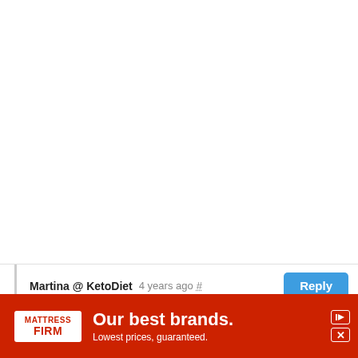Martina @ KetoDiet   4 years ago #   Reply

Legumes are generally too high in carbs for a keto diet. There is some info about peanuts here: Peanuts on a Ketogenic Diet: Eat or Avoid?
[Figure (screenshot): Advertisement banner for Mattress Firm: red background with white logo and text 'Our best brands. Lowest prices, guaranteed.']